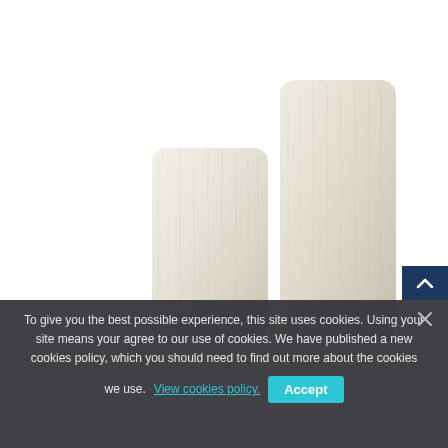[Figure (photo): Two white/off-white ribbed fabric tubes or socks of different heights against a white background. The shorter one is on the left and the taller one is on the right.]
To give you the best possible experience, this site uses cookies. Using your site means your agree to our use of cookies. We have published a new cookies policy, which you should need to find out more about the cookies we use. View cookies policy. Accept